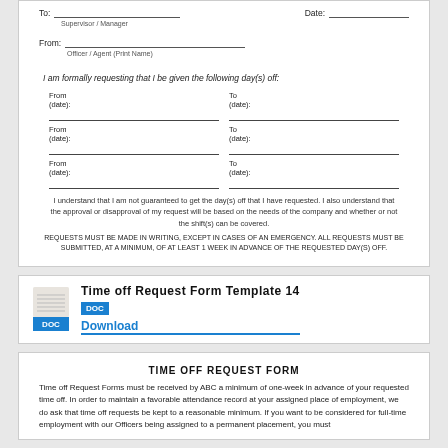To: [line] Date: [line]
Supervisor / Manager
From: [line]
Officer / Agent (Print Name)
I am formally requesting that I be given the following day(s) off:
From (date): [line] To (date): [line]
From (date): [line] To (date): [line]
From (date): [line] To (date): [line]
I understand that I am not guaranteed to get the day(s) off that I have requested. I also understand that the approval or disapproval of my request will be based on the needs of the company and whether or not the shift(s) can be covered.
REQUESTS MUST BE MADE IN WRITING, EXCEPT IN CASES OF AN EMERGENCY. ALL REQUESTS MUST BE SUBMITTED, AT A MINIMUM, OF AT LEAST 1 WEEK IN ADVANCE OF THE REQUESTED DAY(S) OFF.
Time off Request Form Template 14
Download
TIME OFF REQUEST FORM
Time off Request Forms must be received by ABC a minimum of one-week in advance of your requested time off. In order to maintain a favorable attendance record at your assigned place of employment, we do ask that time off requests be kept to a reasonable minimum. If you want to be considered for full-time employment with our Officers being assigned to a permanent placement, you must...